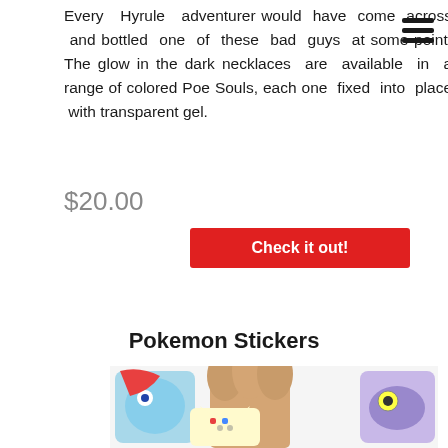Every Hyrule adventurer would have come across and bottled one of these bad guys at some point! The glow in the dark necklaces are available in a range of colored Poe Souls, each one fixed into place with transparent gel.
$20.00
Check it out!
Pokemon Stickers
[Figure (photo): Hand holding Pokemon stickers including various colorful Pokemon character stickers]